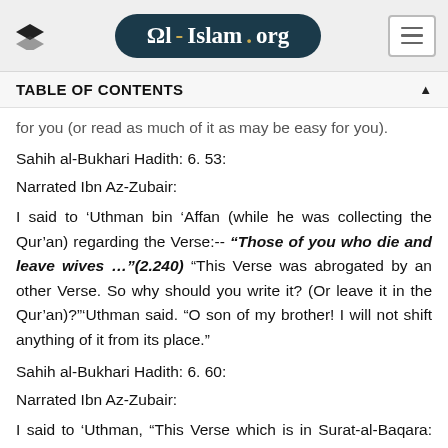Al-Islam.org
TABLE OF CONTENTS
for you (or read as much of it as may be easy for you).
Sahih al-Bukhari Hadith: 6. 53:
Narrated Ibn Az-Zubair:
I said to 'Uthman bin 'Affan (while he was collecting the Qur'an) regarding the Verse:-- "Those of you who die and leave wives …"(2.240) "This Verse was abrogated by an other Verse. So why should you write it? (Or leave it in the Qur'an)?"'Uthman said. "O son of my brother! I will not shift anything of it from its place."
Sahih al-Bukhari Hadith: 6. 60:
Narrated Ibn Az-Zubair:
I said to 'Uthman, "This Verse which is in Surat-al-Baqara: "Those of you who die and leave widows